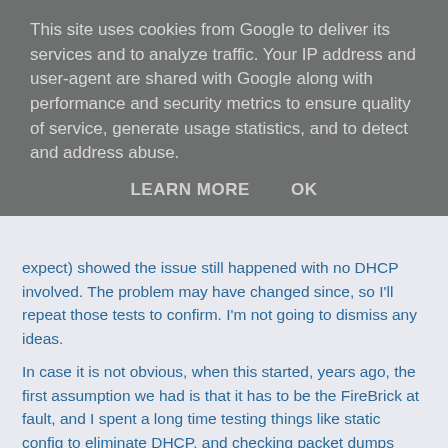This site uses cookies from Google to deliver its services and to analyze traffic. Your IP address and user-agent are shared with Google along with performance and security metrics to ensure quality of service, generate usage statistics, and to detect and address abuse.
LEARN MORE    OK
expect) showed the issue still happened with no DHCP involved. The problem may have changed since, so I'll repeat those tests to confirm. I'm not going to dismiss any ideas.
In case it is not obvious, when this started, years ago, the first assumption we had is that it has to be the FireBrick at fault, and I spent a long time testing things like static config to eliminate DHCP, and checking packet dumps very carefully for DHCP, ARP, ND, RA, RS protocols to try and find anything that would point to FireBrick as the cause. Only after all of that testing did we raise with Ubiquti.
I'll keep you posted...